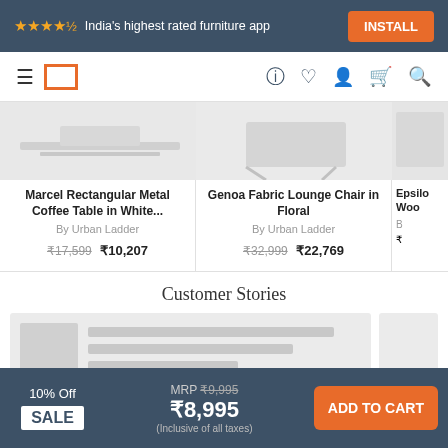★★★★½ India's highest rated furniture app   INSTALL
[Figure (screenshot): Navigation bar with hamburger menu, Urban Ladder logo (orange square outline), help, wishlist, account, cart, and search icons]
[Figure (photo): Product image of Marcel Rectangular Metal Coffee Table in White, partially visible]
Marcel Rectangular Metal Coffee Table in White...
By Urban Ladder
₹17,599  ₹10,207
[Figure (photo): Product image of Genoa Fabric Lounge Chair in Floral, partially visible]
Genoa Fabric Lounge Chair in Floral
By Urban Ladder
₹32,999  ₹22,769
[Figure (photo): Partial product image (Epsilon Woo...) cut off on right edge]
Customer Stories
[Figure (photo): Customer story card with thumbnail image and text lines placeholder]
[Figure (photo): Partial customer story card cut off on right edge]
10% Off SALE   MRP ₹9,995  ₹8,995  (Inclusive of all taxes)   ADD TO CART